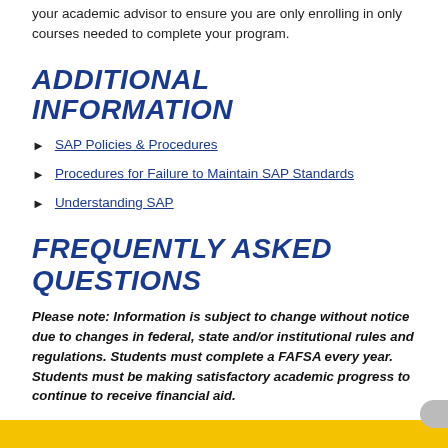your academic advisor to ensure you are only enrolling in only courses needed to complete your program.
ADDITIONAL INFORMATION
SAP Policies & Procedures
Procedures for Failure to Maintain SAP Standards
Understanding SAP
FREQUENTLY ASKED QUESTIONS
Please note: Information is subject to change without notice due to changes in federal, state and/or institutional rules and regulations. Students must complete a FAFSA every year. Students must be making satisfactory academic progress to continue to receive financial aid.